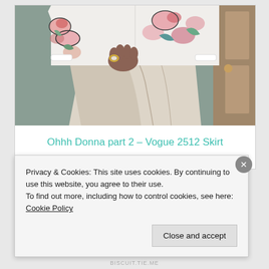[Figure (photo): Person wearing a floral long-sleeve top and a flowing cream/beige wrap skirt, hands on hips, photographed from torso down. Background shows a green wall and wooden door.]
Ohhh Donna part 2 – Vogue 2512 Skirt
I'm sewing for post Covid times.
Privacy & Cookies: This site uses cookies. By continuing to use this website, you agree to their use.
To find out more, including how to control cookies, see here: Cookie Policy
Close and accept
BISCUIT.TIE.ME